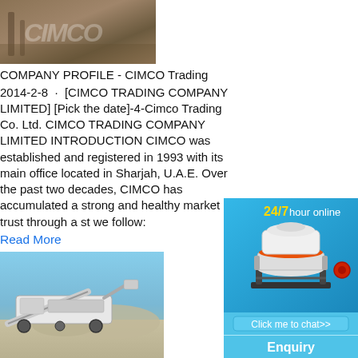[Figure (photo): Construction site photo with reddish-brown tones, partially transparent watermark]
COMPANY PROFILE - CIMCO Trading
2014-2-8 · [CIMCO TRADING COMPANY LIMITED] [Pick the date]-4-Cimco Trading Co. Ltd. CIMCO TRADING COMPANY LIMITED INTRODUCTION CIMCO was established and registered in 1993 with its main office located in Sharjah, U.A.E. Over the past two decades, CIMCO has accumulated a strong and healthy market trust through a s[...]t we follow:
Read More
[Figure (photo): Construction equipment / mobile crusher at a quarry site with blue sky]
Equipment Trader | new and used Equipment for ...
2021-11-4 · Buy, sell and research new an[...] equipment. Find the construction equipmen[...]
[Figure (infographic): Advertisement sidebar: 24/7 hour online, cone crusher machine image, Click me to chat>>, Enquiry, limingjlmofen]